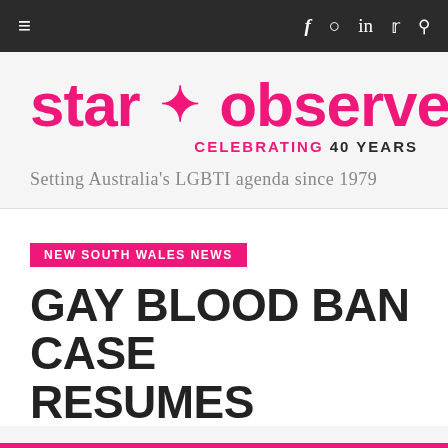≡  f  ⊙  in  𝕿  🔍
[Figure (logo): Star Observer logo — pink bold text 'star * observer' with tagline 'CELEBRATING 40 YEARS' and 'Setting Australia's LGBTI agenda since 1979']
NEW SOUTH WALES NEWS
GAY BLOOD BAN CASE RESUMES